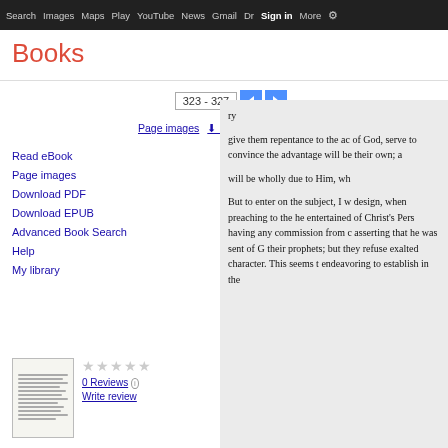Search  Images  Maps  Play  YouTube  News  Gmail  Drive  More  Sign in
Books
323 - 327
Page images  PDF  EPUB
Read eBook
Page images
Download PDF
Download EPUB
Advanced Book Search
Help
My library
[Figure (other): Book thumbnail showing text lines]
0 Reviews  Write review
A Defence of the Trinitarian System, in Twenty-four Sermons: In which the ...
ry

give them repentance to the ac of God, serve to convince the advantage will be their own; a

will be wholly due to Him, wh

But to enter on the subject, I w design, when preaching to the he entertained of Christ's Pers having any commission from c asserting that he was sent of G their prophets; but they refuse exalted character. This seems t endeavoring to establish in the